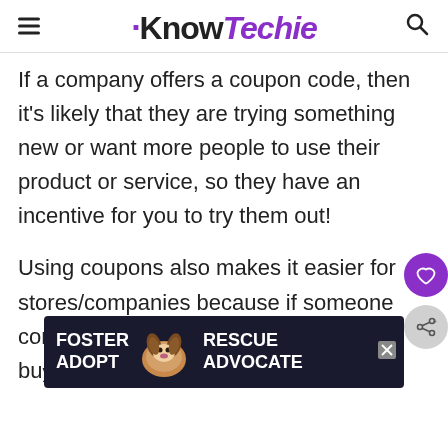KnowTechie
If a company offers a coupon code, then it's likely that they are trying something new or want more people to use their product or service, so they have an incentive for you to try them out!
Using coupons also makes it easier for stores/companies because if someone comes in with a coupon but doesn't bu, a... heir
[Figure (other): Advertisement banner: FOSTER ADOPT / dog image / RESCUE ADVOCATE, dark background with a beagle dog image]